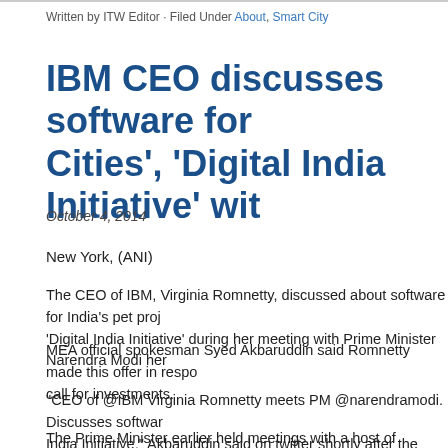Written by ITW Editor · Filed Under About, Smart City
IBM CEO discusses software for Cities', 'Digital India Initiative' wit
October 4, 2014
New York,  (ANI)
The CEO of IBM, Virginia Romnetty, discussed about software for India's pet proj 'Digital India Initiative' during her meeting with Prime Minister Narendra Modi her
MEA official spokesman Syed Akbaruddin said Romnetty made this offer in respo call for investments.
"CEO of @IBM Virginia Romnetty meets PM @narendramodi. Discusses softwar India Initiative," Akbaruddin said on twitter shortly after the meeting.
The Prime Minister earlier held meetings with a host of business leaders includin McNerney; American private equity fund Kohlberg Kravis Roberts and Co CEO H